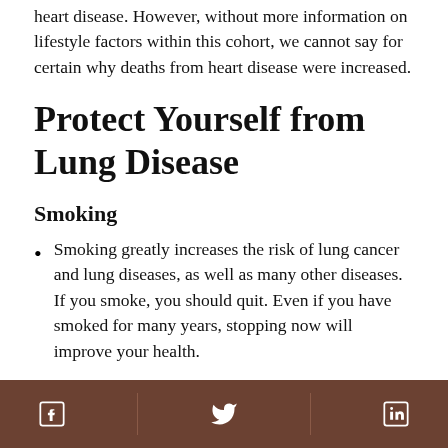heart disease. However, without more information on lifestyle factors within this cohort, we cannot say for certain why deaths from heart disease were increased.
Protect Yourself from Lung Disease
Smoking
Smoking greatly increases the risk of lung cancer and lung diseases, as well as many other diseases. If you smoke, you should quit. Even if you have smoked for many years, stopping now will improve your health.
Facebook | Twitter | LinkedIn